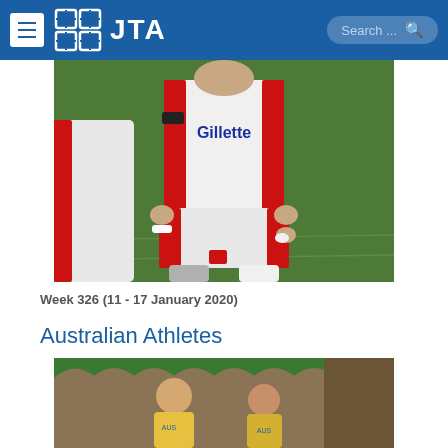JTA — Search
[Figure (photo): Rugby player wearing white and red Gillette-sponsored jersey and shorts, standing on a grass field]
Week 326 (11 - 17 January 2020)
Australian Athletes
[Figure (photo): Two athletes wearing yellow Australian team uniforms at an outdoor event with green decorations in background]